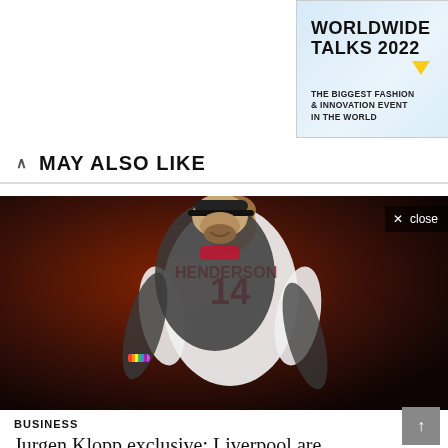[Figure (photo): Advertisement banner for Worldwide Talks 2022 – The Biggest Fashion & Innovation Event in the World, with a Register Now button and decorative geometric shapes.]
MAY ALSO LIKE
[Figure (photo): Photo of Jurgen Klopp hugging Liverpool player Henderson (number 14) on a dark red background. A close button is visible in the top right.]
BUSINESS
Jurgen Klopp exclusive: Liverpool are